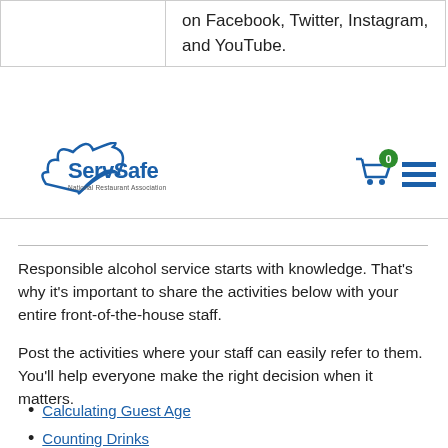|  |  |
| --- | --- |
|  | on Facebook, Twitter, Instagram, and YouTube. |
[Figure (logo): ServSafe logo with cloud swirl and National Restaurant Association text]
[Figure (infographic): Shopping cart icon with green badge showing 0]
[Figure (infographic): Hamburger menu icon with three blue lines]
Responsible alcohol service starts with knowledge. That's why it's important to share the activities below with your entire front-of-the-house staff.
Post the activities where your staff can easily refer to them. You'll help everyone make the right decision when it matters.
Calculating Guest Age
Counting Drinks